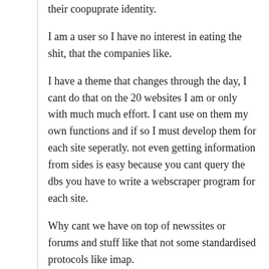their coopuprate identity.
I am a user so I have no interest in eating the shit, that the companies like.
I have a theme that changes through the day, I cant do that on the 20 websites I am or only with much much effort. I cant use on them my own functions and if so I must develop them for each site seperatly. not even getting information from sides is easy because you cant query the dbs you have to write a webscraper program for each site.
Why cant we have on top of newssites or forums and stuff like that not some standardised protocols like imap.
for 2 b...